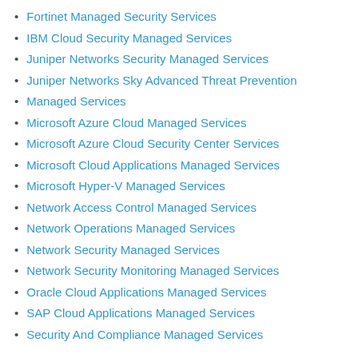Fortinet Managed Security Services
IBM Cloud Security Managed Services
Juniper Networks Security Managed Services
Juniper Networks Sky Advanced Threat Prevention
Managed Services
Microsoft Azure Cloud Managed Services
Microsoft Azure Cloud Security Center Services
Microsoft Cloud Applications Managed Services
Microsoft Hyper-V Managed Services
Network Access Control Managed Services
Network Operations Managed Services
Network Security Managed Services
Network Security Monitoring Managed Services
Oracle Cloud Applications Managed Services
SAP Cloud Applications Managed Services
Security And Compliance Managed Services